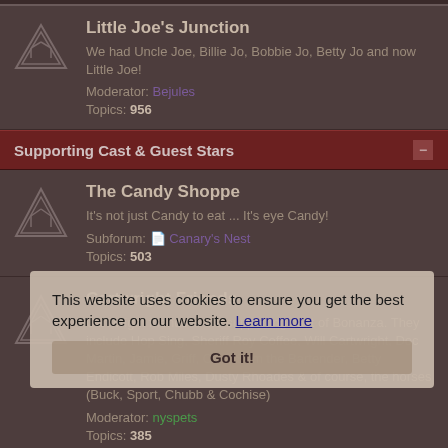Little Joe's Junction
We had Uncle Joe, Billie Jo, Bobbie Jo, Betty Jo and now Little Joe!
Moderator: Bejules
Topics: 956
Supporting Cast & Guest Stars
The Candy Shoppe
It's not just Candy to eat ... It's eye Candy!
Subforum: Canary's Nest
Topics: 503
Cartwright Friends
Cartwright friends is the supporting cast of Bonanza. They include Hop Sing, Sheriff Roy Coffee, Will Cartwright, Doc Martin, Jamie, Griff, Clint, Sam the Bartender, Betty Endicott, Rob Miles, Dusty Rhoades & of course, the horses (Buck, Sport, Chubb & Cochise)
Moderator: nyspets
Topics: 385
Bonanza Guest Stars
Come take a peek at our guest star forum. Here you will find bios on many of our Bonanza guest stars. We offer guest star pictures of the
This website uses cookies to ensure you get the best experience on our website. Learn more Got it!